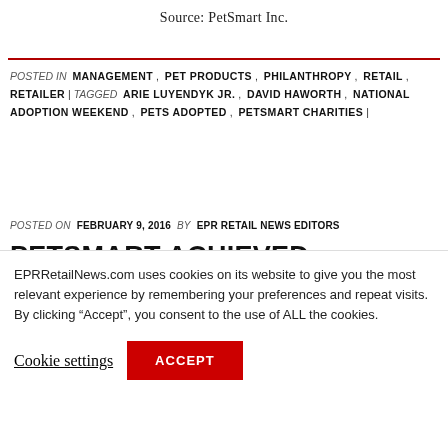Source: PetSmart Inc.
POSTED IN MANAGEMENT , PET PRODUCTS , PHILANTHROPY , RETAIL , RETAILER | TAGGED ARIE LUYENDYK JR. , DAVID HAWORTH , NATIONAL ADOPTION WEEKEND , PETS ADOPTED , PETSMART CHARITIES |
POSTED ON FEBRUARY 9, 2016 BY EPR RETAIL NEWS EDITORS
PETSMART ACHIEVED HISTORIC ADOPTION MILESTONE IN 2015;
EPRRetailNews.com uses cookies on its website to give you the most relevant experience by remembering your preferences and repeat visits. By clicking “Accept”, you consent to the use of ALL the cookies.
Cookie settings | ACCEPT